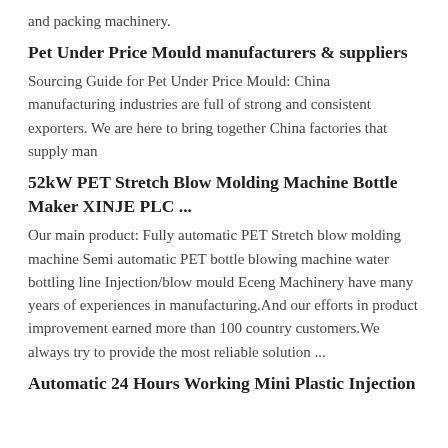and packing machinery.
Pet Under Price Mould manufacturers & suppliers
Sourcing Guide for Pet Under Price Mould: China manufacturing industries are full of strong and consistent exporters. We are here to bring together China factories that supply man
52kW PET Stretch Blow Molding Machine Bottle Maker XINJE PLC ...
Our main product: Fully automatic PET Stretch blow molding machine Semi automatic PET bottle blowing machine water bottling line Injection/blow mould Eceng Machinery have many years of experiences in manufacturing.And our efforts in product improvement earned more than 100 country customers.We always try to provide the most reliable solution ...
Automatic 24 Hours Working Mini Plastic Injection